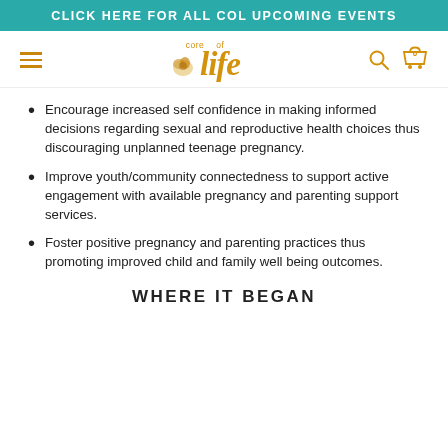CLICK HERE FOR ALL COL UPCOMING EVENTS
[Figure (logo): Core of Life logo with hamburger menu, search icon, and cart icon with 0]
Encourage increased self confidence in making informed decisions regarding sexual and reproductive health choices thus discouraging unplanned teenage pregnancy.
Improve youth/community connectedness to support active engagement with available pregnancy and parenting support services.
Foster positive pregnancy and parenting practices thus promoting improved child and family well being outcomes.
WHERE IT BEGAN